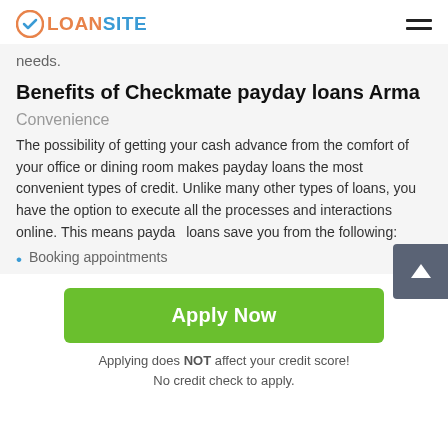LOANSITE
needs.
Benefits of Checkmate payday loans Arma
Convenience
The possibility of getting your cash advance from the comfort of your office or dining room makes payday loans the most convenient types of credit. Unlike many other types of loans, you have the option to execute all the processes and interactions online. This means payday loans save you from the following:
Booking appointments
Apply Now
Applying does NOT affect your credit score!
No credit check to apply.